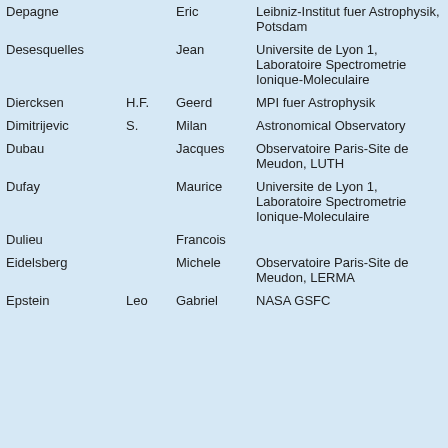| Last Name | Initial | First Name | Institution |
| --- | --- | --- | --- |
| Depagne |  | Eric | Leibniz-Institut fuer Astrophysik, Potsdam |
| Desesquelles |  | Jean | Universite de Lyon 1, Laboratoire Spectrometrie Ionique-Moleculaire |
| Diercksen | H.F. | Geerd | MPI fuer Astrophysik |
| Dimitrijevic | S. | Milan | Astronomical Observatory |
| Dubau |  | Jacques | Observatoire Paris-Site de Meudon, LUTH |
| Dufay |  | Maurice | Universite de Lyon 1, Laboratoire Spectrometrie Ionique-Moleculaire |
| Dulieu |  | Francois |  |
| Eidelsberg |  | Michele | Observatoire Paris-Site de Meudon, LERMA |
| Epstein | Leo | Gabriel | NASA GSFC |